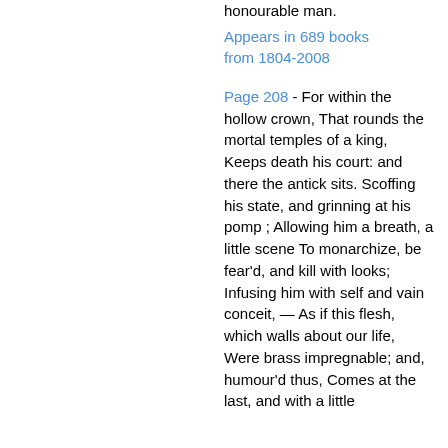honourable man.
Appears in 689 books from 1804-2008
Page 208 - For within the hollow crown, That rounds the mortal temples of a king, Keeps death his court: and there the antick sits. Scoffing his state, and grinning at his pomp ; Allowing him a breath, a little scene To monarchize, be fear'd, and kill with looks; Infusing him with self and vain conceit, — As if this flesh, which walls about our life, Were brass impregnable; and, humour'd thus, Comes at the last, and with a little